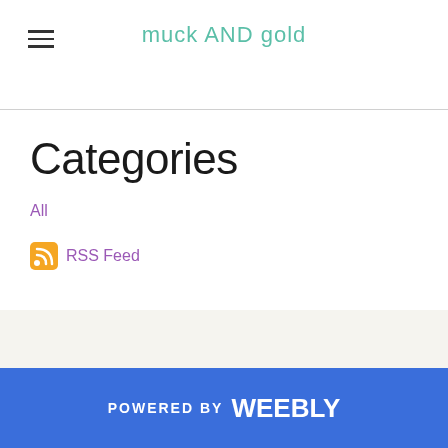muck AND gold
Categories
All
RSS Feed
POWERED BY weebly